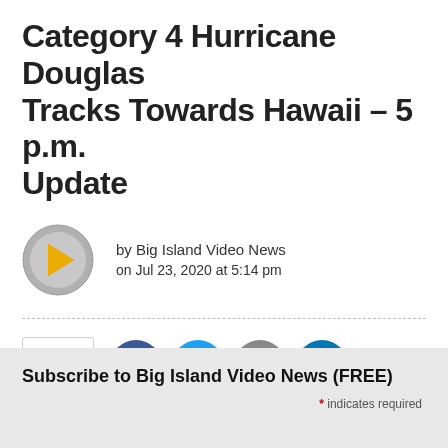Category 4 Hurricane Douglas Tracks Towards Hawaii – 5 p.m. Update
by Big Island Video News
on Jul 23, 2020 at 5:14 pm
[Figure (logo): Big Island Video News logo: gray circle with gold play button shaped like Hawaii island]
455 Shares
[Figure (infographic): Social share buttons: Facebook (blue circle with f), Twitter (light blue circle with bird), Email (gray circle with envelope), LinkedIn (dark blue circle with 'in')]
Subscribe to Big Island Video News (FREE)
* indicates required